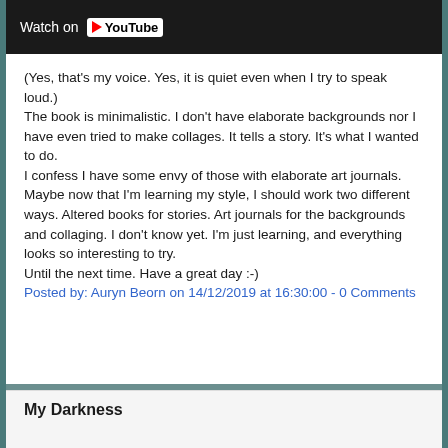[Figure (screenshot): YouTube video embed showing 'Watch on YouTube' button/bar at top of page]
(Yes, that's my voice. Yes, it is quiet even when I try to speak loud.)
The book is minimalistic. I don't have elaborate backgrounds nor I have even tried to make collages. It tells a story. It's what I wanted to do.
I confess I have some envy of those with elaborate art journals. Maybe now that I'm learning my style, I should work two different ways. Altered books for stories. Art journals for the backgrounds and collaging. I don't know yet. I'm just learning, and everything looks so interesting to try.
Until the next time. Have a great day :-)
Posted by: Auryn Beorn on 14/12/2019 at 16:30:00 - 0 Comments
My Darkness